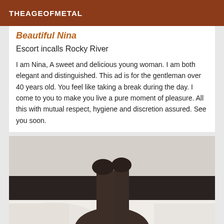THEAGEOFMETAL
Beautiful Nina
Escort incalls Rocky River
I am Nina, A sweet and delicious young woman. I am both elegant and distinguished. This ad is for the gentleman over 40 years old. You feel like taking a break during the day. I come to you to make you live a pure moment of pleasure. All this with mutual respect, hygiene and discretion assured. See you soon.
[Figure (photo): A person lying on a bed wearing dark stockings/tights, viewed from above, with white bedding visible.]